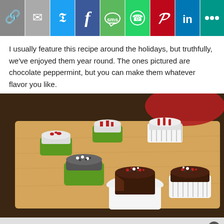[Figure (infographic): Social share toolbar with icons: link, email, Twitter, Facebook, SMS, WhatsApp, Pinterest, LinkedIn, and more options]
I usually feature this recipe around the holidays, but truthfully, we've enjoyed them year round. The ones pictured are chocolate peppermint, but you can make them whatever flavor you like.
[Figure (photo): Chocolate peppermint fudge cups in green silicone and white paper cupcake liners on a wooden cutting board, topped with red, white and black sprinkles. One cup is open showing dark chocolate interior.]
[Figure (other): Advertisement bar at bottom of page with close button]